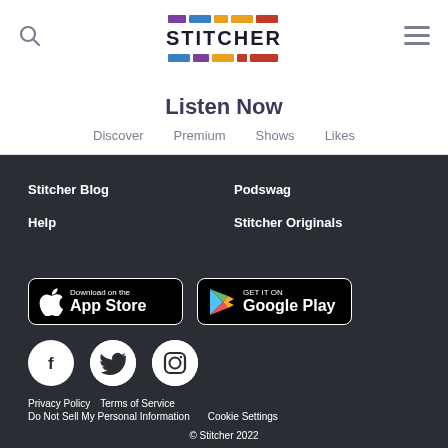[Figure (logo): Stitcher logo with colorful bars above and below the text]
Listen Now
Discover
Premium
Shows
Likes
Stitcher Blog
Podswag
Help
Stitcher Originals
[Figure (screenshot): Download on the App Store button]
[Figure (screenshot): GET IT ON Google Play button]
[Figure (logo): Facebook social media icon (white F on black circle)]
[Figure (logo): Twitter social media icon (white bird on black circle)]
[Figure (logo): Instagram social media icon (camera outline on black circle)]
Privacy Policy   Terms of Service
Do Not Sell My Personal Information   Cookie Settings
© Stitcher 2022